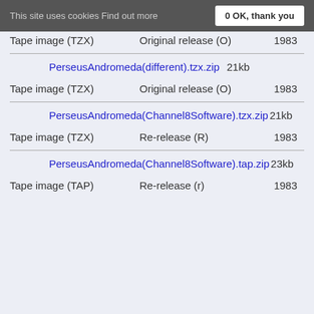This site uses cookies Find out more   0 OK, thank you
Tape image (TZX)   Original release (O)   1983
PerseusAndromeda(different).tzx.zip   21kb
Tape image (TZX)   Original release (O)   1983
PerseusAndromeda(Channel8Software).tzx.zip   21kb
Tape image (TZX)   Re-release (R)   1983
PerseusAndromeda(Channel8Software).tap.zip   23kb
Tape image (TAP)   Re-release (r)   1983